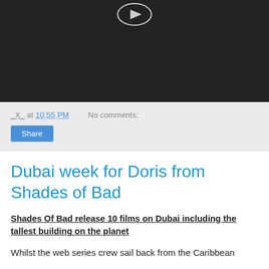[Figure (photo): Dark video thumbnail with a small play/media icon visible at top center against a black background.]
_X_ at 10:55 PM   No comments:
Share
Dubai week for Doris from Shades of Bad
Shades Of Bad release 10 films on Dubai including the tallest building on the planet
Whilst the web series crew sail back from the Caribbean